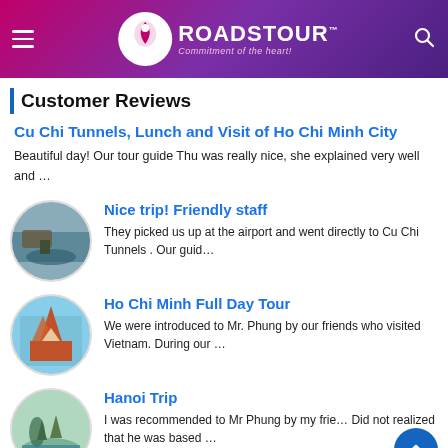[Figure (screenshot): RoadsTour website header with logo, hamburger menu, and search icon on gradient background]
Customer Reviews
Cu Chi Tunnels, Lunch and Visit of Ho Chi Minh City
Beautiful day! Our tour guide Thu was really nice, she explained very well and …
[Figure (photo): Circular thumbnail of a boat on a river near Cu Chi Tunnels]
Nice trip! Friendly staff
They picked us up at the airport and went directly to Cu Chi Tunnels . Our guid…
[Figure (photo): Circular thumbnail of Ho Chi Minh City cathedral]
Ho Chi Minh Full Day Tour
We were introduced to Mr. Phung by our friends who visited Vietnam. During our …
[Figure (photo): Circular thumbnail of Hanoi scenic landscape with karst mountains]
Hanoi Trip
I was recommended to Mr Phung by my frie… Did not realized that he was based …